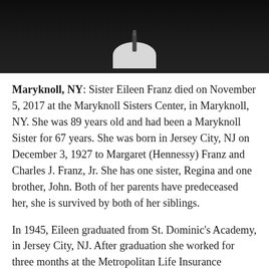[Figure (photo): Black and white photo of a Maryknoll Sister wearing a dark habit with a white collar/bib visible at the bottom of the image]
Maryknoll, NY: Sister Eileen Franz died on November 5, 2017 at the Maryknoll Sisters Center, in Maryknoll, NY. She was 89 years old and had been a Maryknoll Sister for 67 years. She was born in Jersey City, NJ on December 3, 1927 to Margaret (Hennessy) Franz and Charles J. Franz, Jr. She has one sister, Regina and one brother, John. Both of her parents have predeceased her, she is survived by both of her siblings.
In 1945, Eileen graduated from St. Dominic's Academy, in Jersey City, NJ. After graduation she worked for three months at the Metropolitan Life Insurance Company before attending St. Francis Hospital School of Nursing, in Jersey City where she earned a Bachelor's Degree in Nursing in 1948. She then worked as a nurse in St. Francis Hospital from 1948 to 1950. Eileen then joined...